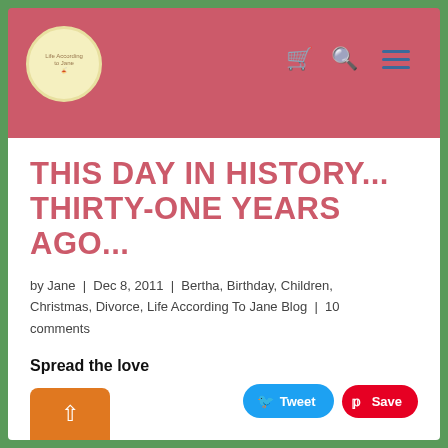[Figure (logo): Circular logo with flamingo/bird illustration and text 'Life According to Jane']
THIS DAY IN HISTORY... THIRTY-ONE YEARS AGO...
by Jane | Dec 8, 2011 | Bertha, Birthday, Children, Christmas, Divorce, Life According To Jane Blog | 10 comments
Spread the love
[Figure (screenshot): Tweet and Save (Pinterest) social sharing buttons]
[Figure (screenshot): Orange share button with up-arrow/share icon]